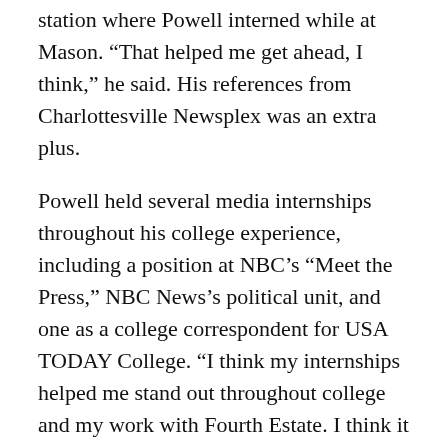station where Powell interned while at Mason. “That helped me get ahead, I think,” he said. His references from Charlottesville Newsplex was an extra plus.
Powell held several media internships throughout his college experience, including a position at NBC’s “Meet the Press,” NBC News’s political unit, and one as a college correspondent for USA TODAY College. “I think my internships helped me stand out throughout college and my work with Fourth Estate. I think it was a mix of a lot of things … and dumb luck.”
He talked about his typical day as a reporter. “We start our day at 9:30 a.m.